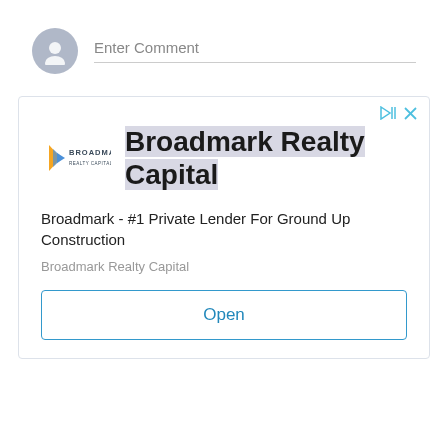Enter Comment
[Figure (screenshot): Advertisement for Broadmark Realty Capital showing logo, bold title 'Broadmark Realty Capital', description 'Broadmark - #1 Private Lender For Ground Up Construction', source label 'Broadmark Realty Capital', and an 'Open' button. Top right has ad controls (play/skip and close icons).]